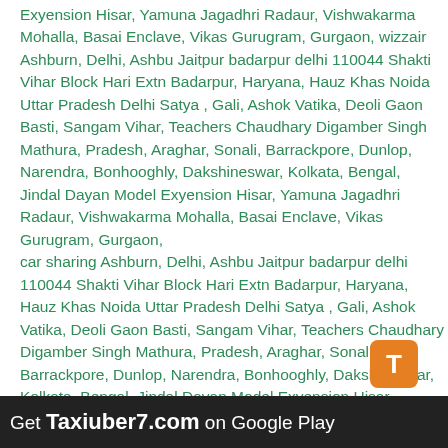Exyension Hisar, Yamuna Jagadhri Radaur, Vishwakarma Mohalla, Basai Enclave, Vikas Gurugram, Gurgaon, wizzair Ashburn, Delhi, Ashbu Jaitpur badarpur delhi 110044 Shakti Vihar Block Hari Extn Badarpur, Haryana, Hauz Khas Noida Uttar Pradesh Delhi Satya , Gali, Ashok Vatika, Deoli Gaon Basti, Sangam Vihar, Teachers Chaudhary Digamber Singh Mathura, Pradesh, Araghar, Sonali, Barrackpore, Dunlop, Narendra, Bonhooghly, Dakshineswar, Kolkata, Bengal, Jindal Dayan Model Exyension Hisar, Yamuna Jagadhri Radaur, Vishwakarma Mohalla, Basai Enclave, Vikas Gurugram, Gurgaon, car sharing Ashburn, Delhi, Ashbu Jaitpur badarpur delhi 110044 Shakti Vihar Block Hari Extn Badarpur, Haryana, Hauz Khas Noida Uttar Pradesh Delhi Satya , Gali, Ashok Vatika, Deoli Gaon Basti, Sangam Vihar, Teachers Chaudhary Digamber Singh Mathura, Pradesh, Araghar, Sonali, Barrackpore, Dunlop, Narendra, Bonhooghly, Dakshineswar, Kolkata, Bengal, Jindal Dayan Model Exyension Hisar, Yamuna Jagadhri Radaur, Vishwakarma Mohalla, Basai Enclave, Vikas Gurugram, Gurgaon, carsharing Ashburn, Delhi, Ashbu Jaitpur badarpur delhi 110044 Shakti Vihar Block Hari Extn Badarpur, Haryana, Hauz Khas Noida Uttar Pradesh Delhi Satya , Gali, Ashok Vatika, Deoli Gaon Basti, Sangam Vihar, Teachers Chaudhary Digamber Singh Mathura, Pradesh, Araghar, Sonali, Barrackpore, Dunlop, Narendra, Bonhooghly, Dakshineswar, Kolkata, Bengal, Jindal Dayan Model Exyension Hisar, Yamuna Jagadhri Radaur, Vishwakarma Mohalla
[Figure (logo): Orange rounded square icon with letter T]
Get Taxiuber7.com on Google Play